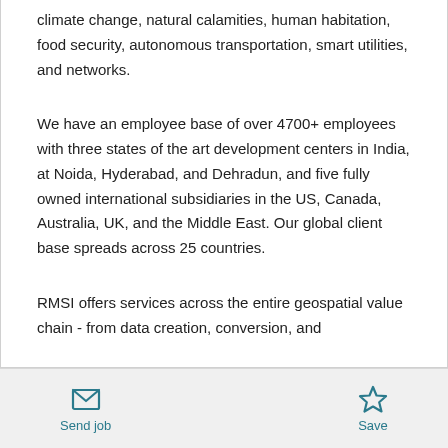climate change, natural calamities, human habitation, food security, autonomous transportation, smart utilities, and networks.
We have an employee base of over 4700+ employees with three states of the art development centers in India, at Noida, Hyderabad, and Dehradun, and five fully owned international subsidiaries in the US, Canada, Australia, UK, and the Middle East. Our global client base spreads across 25 countries.
RMSI offers services across the entire geospatial value chain - from data creation, conversion, and
Send job  Save